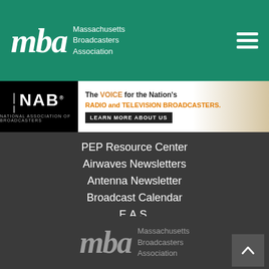[Figure (logo): Massachusetts Broadcasters Association logo in white on green header background with hamburger menu icon]
[Figure (illustration): NAB National Association of Broadcasters banner ad: 'The VOICE for the Nation's RADIO and TELEVISION BROADCASTERS. LEARN MORE ABOUT US']
PEP Resource Center
Airwaves Newsletters
Antenna Newsletter
Broadcast Calendar
E.A.S.
Paid Internships
Join the MBA
Site Map
[Figure (logo): Massachusetts Broadcasters Association logo in grey at bottom of page]